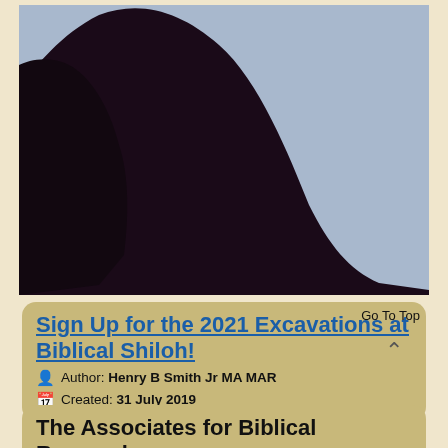[Figure (photo): Silhouette of a rocky hill or mound against a light blue sky. The left and bottom portions are very dark/black, showing the curved shape of a large mound, with bright open sky in the upper right.]
Sign Up for the 2021 Excavations at Biblical Shiloh!
Go To Top
Author: Henry B Smith Jr MA MAR
Created: 31 July 2019
The Associates for Biblical Research